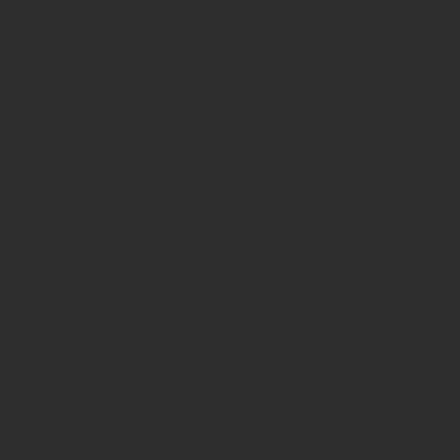Explore PokéCommunity
< Video Games   (?) →] Sign In
obsession over 69. Still screenshotted it.
Checked the Steam global achievement stats. Shows only 31.7% clearing the first dungeon. Sounds very low, even by first achievement standards. Must not have been alone in that first impression. Reports a relatively impressive 9.6% game completion, however. Apparently really struggles to get going. Retains players quite well after that.
Feels very torn on whether the game was good or not. Bases this on the desire to replay it. Probably would have been a great game using a more recent edition of Dungeons and Dragons. Hated all the immunities. Still enjoyed some of the quests and dungeon crawls.